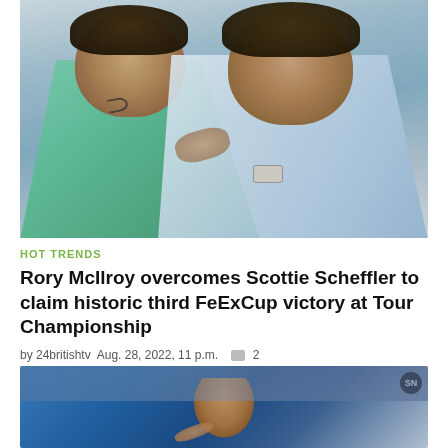[Figure (photo): Two golfers embracing and smiling at each other — one wearing a teal/green Nike polo shirt (back to camera), the other in a light blue/white polo shirt facing camera, set against a light grey-blue background.]
HOT TRENDS
Rory McIlroy overcomes Scottie Scheffler to claim historic third FeExCup victory at Tour Championship
by 24britishtv  Aug. 28, 2022, 11 p.m.  💬 2
[Figure (photo): Soccer player celebrating on the field, crowd visible in background. SN logo badge in top-right corner.]